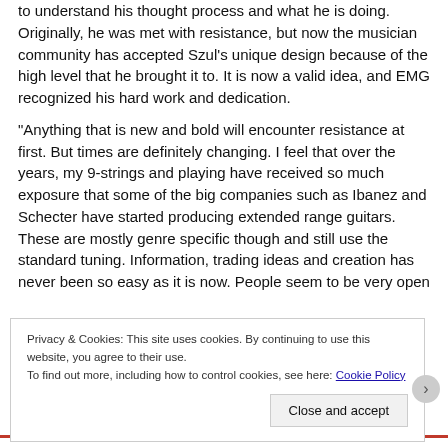to understand his thought process and what he is doing. Originally, he was met with resistance, but now the musician community has accepted Szul's unique design because of the high level that he brought it to. It is now a valid idea, and EMG recognized his hard work and dedication.
“Anything that is new and bold will encounter resistance at first. But times are definitely changing. I feel that over the years, my 9-strings and playing have received so much exposure that some of the big companies such as Ibanez and Schecter have started producing extended range guitars. These are mostly genre specific though and still use the standard tuning. Information, trading ideas and creation has never been so easy as it is now. People seem to be very open
Privacy & Cookies: This site uses cookies. By continuing to use this website, you agree to their use.
To find out more, including how to control cookies, see here: Cookie Policy

Close and accept